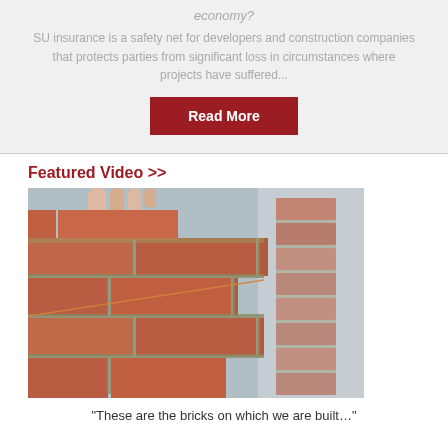economy?
SU insurance is a safety net for developers and construction companies that protects parties from significant loss in circumstances where projects have suffered...
Read More
Featured Video >>
[Figure (photo): Close-up photograph of red bricks being laid with mortar, showing hands placing bricks, construction work in progress.]
“These are the bricks on which we are built…”